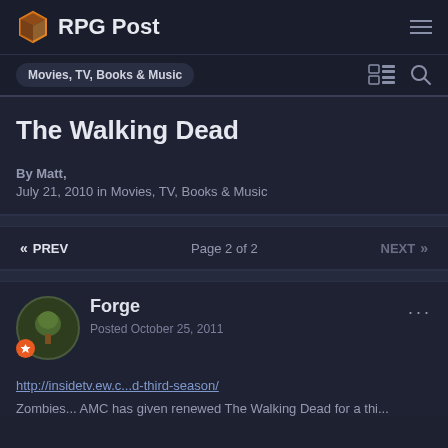RPG Post
Movies, TV, Books & Music
The Walking Dead
By Matt, July 21, 2010 in Movies, TV, Books & Music
« PREV   Page 2 of 2   NEXT »
Forge
Posted October 25, 2011
http://insidetv.ew.c...d-third-season/